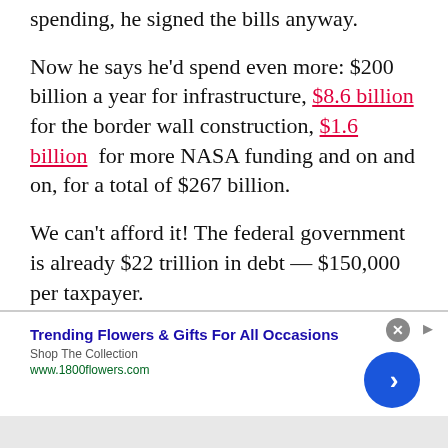spending, he signed the bills anyway.
Now he says he'd spend even more: $200 billion a year for infrastructure, $8.6 billion for the border wall construction, $1.6 billion  for more NASA funding and on and on, for a total of $267 billion.
We can't afford it! The federal government is already $22 trillion in debt — $150,000 per taxpayer.
[Figure (screenshot): Advertisement banner: Trending Flowers & Gifts For All Occasions — Shop The Collection — www.1800flowers.com, with close button and blue arrow navigation button]